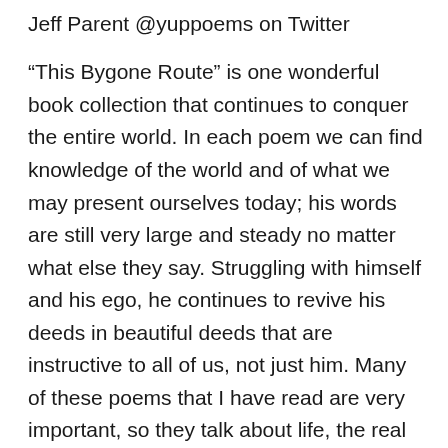Jeff Parent @yuppoems on Twitter
“This Bygone Route” is one wonderful book collection that continues to conquer the entire world. In each poem we can find knowledge of the world and of what we may present ourselves today; his words are still very large and steady no matter what else they say. Struggling with himself and his ego, he continues to revive his deeds in beautiful deeds that are instructive to all of us, not just him. Many of these poems that I have read are very important, so they talk about life, the real state of man and emotions that are trivial,